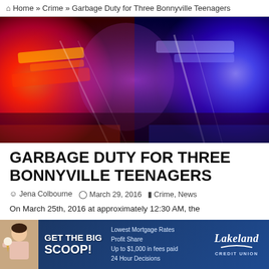Home » Crime » Garbage Duty for Three Bonnyville Teenagers
[Figure (photo): Police car emergency lights — red and blue flashing lights close-up, blurred motion background]
GARBAGE DUTY FOR THREE BONNYVILLE TEENAGERS
Jena Colbourne   March 29, 2016   Crime, News
On March 25th, 2016 at approximately 12:30 AM, the
[Figure (advertisement): Lakeland Credit Union advertisement — GET THE BIG SCOOP! Lowest Mortgage Rates, Profit Share, Up to $1,000 in fees paid, 24 Hour Decisions]